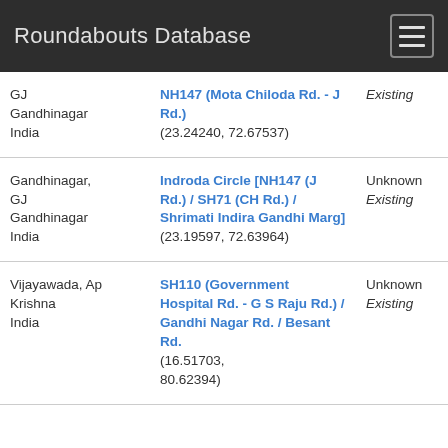Roundabouts Database
| Location | Name/Route | Status | Other |
| --- | --- | --- | --- |
| GJ
Gandhinagar
India | NH147 (Mota Chiloda Rd. - J Rd.)
(23.24240, 72.67537) | Existing | None |
| Gandhinagar, GJ
Gandhinagar
India | Indroda Circle [NH147 (J Rd.) / SH71 (CH Rd.) / Shrimati Indira Gandhi Marg]
(23.19597, 72.63964) | Unknown
Existing | Unknown
None |
| Vijayawada, Ap
Krishna
India | SH110 (Government Hospital Rd. - G S Raju Rd.) / Gandhi Nagar Rd. / Besant Rd.
(16.51703, 80.62394) | Unknown
Existing | Unknown
None |